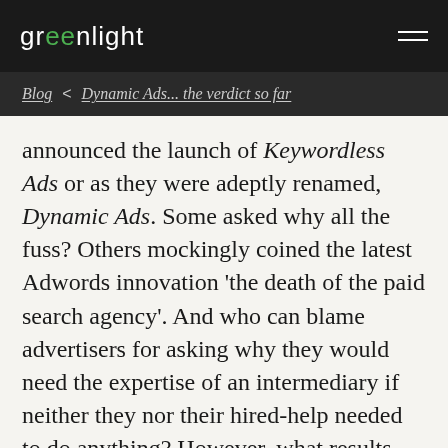greenlight
Blog < Dynamic Ads... the verdict so far
announced the launch of Keywordless Ads or as they were adeptly renamed, Dynamic Ads. Some asked why all the fuss? Others mockingly coined the latest Adwords innovation 'the death of the paid search agency'. And who can blame advertisers for asking why they would need the expertise of an intermediary if neither they nor their hired-help needed to do anything? However, what results have Dynamic Ads reaped so far?
Before we delve into this, let's look at the key reason Google introduced keywordless ads - The